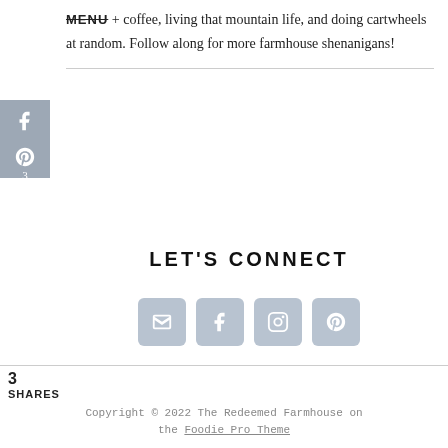good food + coffee, living that mountain life, and doing cartwheels at random. Follow along for more farmhouse shenanigans!
[Figure (infographic): Social share sidebar with Facebook, Pinterest (count: 3), and Email icons on a grey background]
LET'S CONNECT
[Figure (infographic): Four social media buttons: Email, Facebook, Instagram, Pinterest]
3
SHARES
Copyright © 2022 The Redeemed Farmhouse on the Foodie Pro Theme